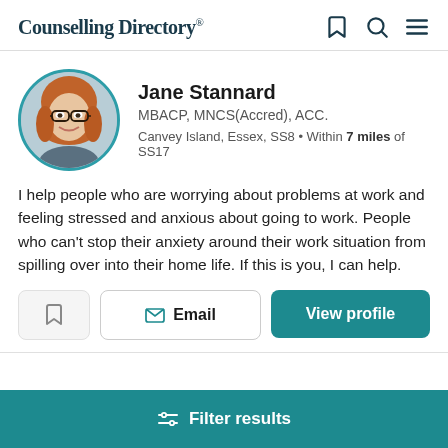Counselling Directory
[Figure (photo): Profile photo of Jane Stannard, a woman with red hair and glasses, smiling, in a circular frame with teal border]
Jane Stannard
MBACP, MNCS(Accred), ACC.
Canvey Island, Essex, SS8 • Within 7 miles of SS17
I help people who are worrying about problems at work and feeling stressed and anxious about going to work. People who can't stop their anxiety around their work situation from spilling over into their home life. If this is you, I can help.
Email
View profile
Filter results